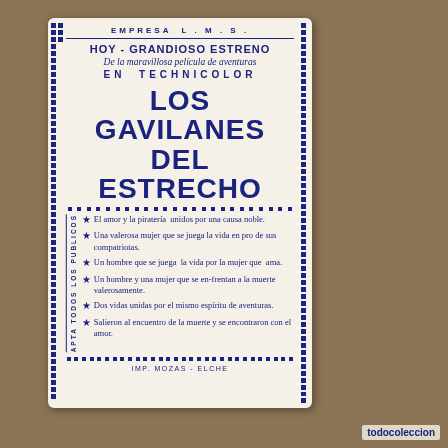EMPRESA L. M. S.
HOY - GRANDIOSO ESTRENO
De la maravillosa película de aventuras
EN TECHNICOLOR
LOS GAVILANES DEL ESTRECHO
El amor y la piratería unidos por una causa noble.
Una valerosa mujer que se juega la vida en pro de sus compatriotas.
Un hombre que se juega la vida por la mujer que ama.
Un hombre y una mujer que se enfrentan a la muerte valerosamente.
Dos vidas unidas por el mismo espíritu de aventuras.
Salieron al encuentro de la muerte y se encontraron con el amor.
IMP. MOZAS - ELCHE